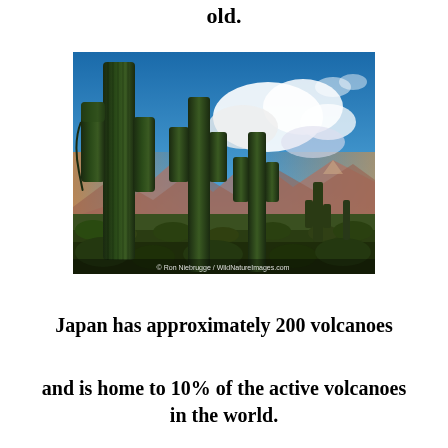old.
[Figure (photo): Desert landscape with tall saguaro cacti in foreground against a blue sky with clouds, mountains in the background. Photo credit: © Ron Niebrugge / WildNatureImages.com]
Japan has approximately 200 volcanoes
and is home to 10% of the active volcanoes in the world.